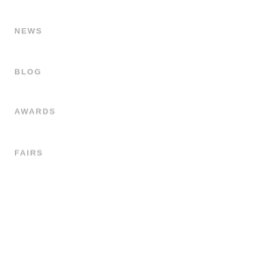NEWS
BLOG
AWARDS
FAIRS
[Figure (other): Three navigation dots/indicators: small dot, large filled circle, small square]
We use cookies on our website to give you the most relevant experience by remembering your preferences and repeat visits. By clicking “Accept All”, you consent to the use of ALL the cookies. However, you may visit “Cookie Settings” to provide a controlled consent.
Cookie Settings | Accept All